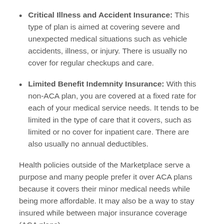Critical Illness and Accident Insurance: This type of plan is aimed at covering severe and unexpected medical situations such as vehicle accidents, illness, or injury. There is usually no cover for regular checkups and care.
Limited Benefit Indemnity Insurance: With this non-ACA plan, you are covered at a fixed rate for each of your medical service needs. It tends to be limited in the type of care that it covers, such as limited or no cover for inpatient care. There are also usually no annual deductibles.
Health policies outside of the Marketplace serve a purpose and many people prefer it over ACA plans because it covers their minor medical needs while being more affordable. It may also be a way to stay insured while between major insurance coverage (ACA plans).